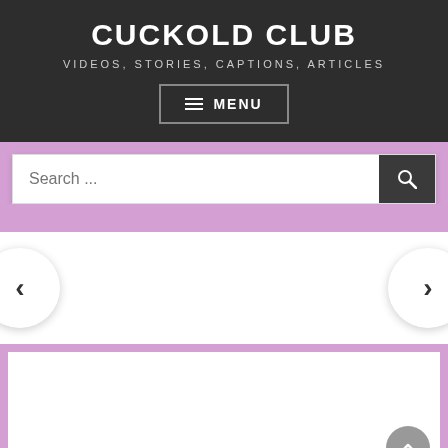CUCKOLD CLUB
VIDEOS, STORIES, CAPTIONS, ARTICLES
MENU
[Figure (screenshot): Search bar with magnifying glass button and carousel navigation arrows on purple background, with white content area below containing a scroll-to-top button]